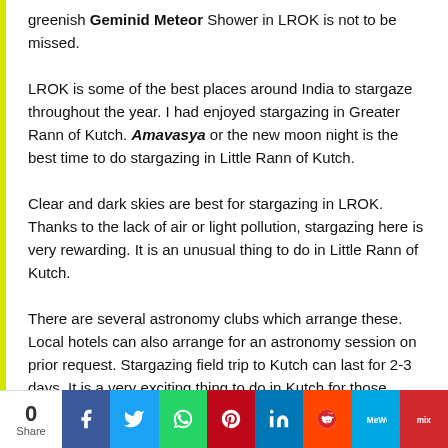greenish Geminid Meteor Shower in LROK is not to be missed.
LROK is some of the best places around India to stargaze throughout the year. I had enjoyed stargazing in Greater Rann of Kutch. Amavasya or the new moon night is the best time to do stargazing in Little Rann of Kutch.
Clear and dark skies are best for stargazing in LROK. Thanks to the lack of air or light pollution, stargazing here is very rewarding. It is an unusual thing to do in Little Rann of Kutch.
There are several astronomy clubs which arrange these. Local hotels can also arrange for an astronomy session on prior request. Stargazing field trip to Kutch can last for 2-3 days. It is a very exciting thing to do in Kutch for those inclined towards studying the night sky, astronomy and space science.
0 Share [social share bar: Facebook, Twitter, WhatsApp, Pinterest, LinkedIn, Reddit, MeWe, Mix]